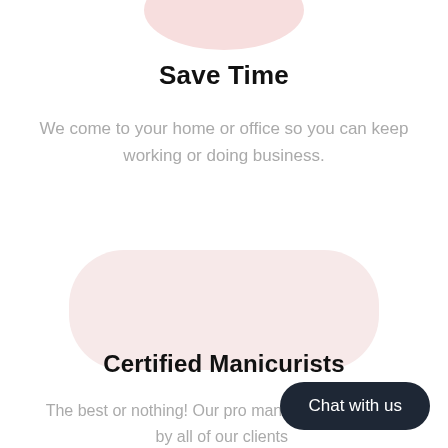[Figure (illustration): Pink rounded blob/oval shape partially visible at top center of page]
Save Time
We come to your home or office so you can keep working or doing business.
[Figure (illustration): Pink rounded rectangle / pill shape in the center of the page]
Certified Manicurists
The best or nothing! Our pro mani[curists are loved] by all of our clients[.]